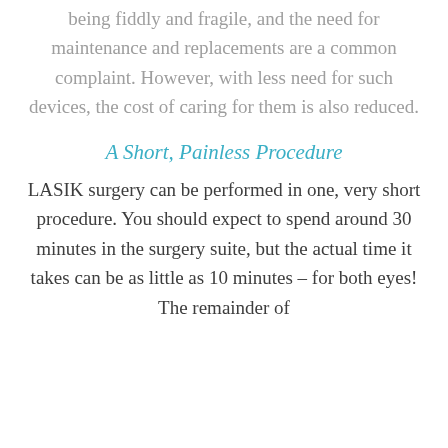Eyeglasses and contacts are known for being fiddly and fragile, and the need for maintenance and replacements are a common complaint. However, with less need for such devices, the cost of caring for them is also reduced.
A Short, Painless Procedure
LASIK surgery can be performed in one, very short procedure. You should expect to spend around 30 minutes in the surgery suite, but the actual time it takes can be as little as 10 minutes – for both eyes! The remainder of